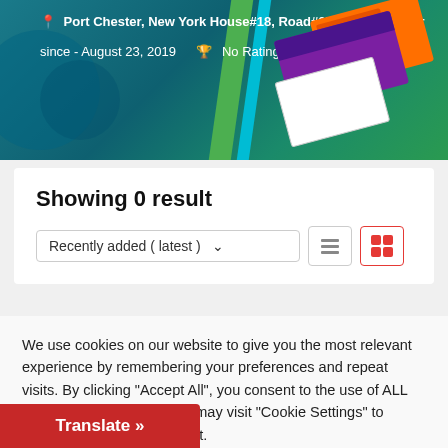[Figure (screenshot): Website profile banner with teal/green gradient background, location pin icon, address 'Port Chester, New York House#18, Road#07', member icon, 'Member since - August 23, 2019', trophy icon, 'No Ratings', and decorative website screenshot cards on the right.]
Showing 0 result
Recently added ( latest )   [list icon] [grid icon]
We use cookies on our website to give you the most relevant experience by remembering your preferences and repeat visits. By clicking "Accept All", you consent to the use of ALL the cookies. However, you may visit "Cookie Settings" to provide a controlled consent.
Cookie Settings   Accept All
Translate »